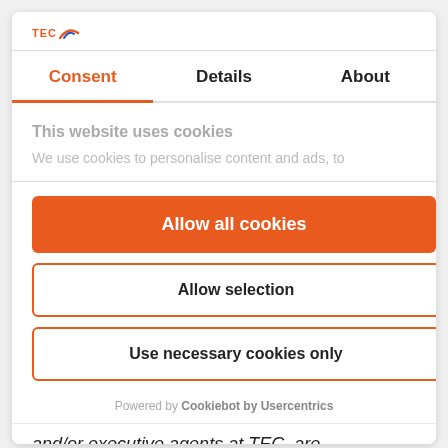[Figure (logo): TEC logo with orange arc graphic]
Consent | Details | About
This website uses cookies
We use cookies to personalise content and ads, to
Allow all cookies
Allow selection
Use necessary cookies only
Powered by Cookiebot by Usercentrics
and/or executive agents at TEC, are